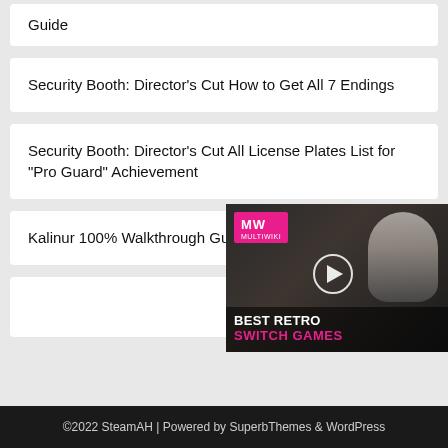Guide
Security Booth: Director’s Cut How to Get All 7 Endings
Security Booth: Director’s Cut All License Plates List for “Pro Guard” Achievement
Kalinur 100% Walkthrough Guide with Map & Achievement
[Figure (screenshot): Ad overlay showing MW logo on pink background with a masked figure in dark background, play button, text: BEST RETRO SWITCH GAMES]
©2022 SteamAH | Powered by SuperbThemes & WordPress